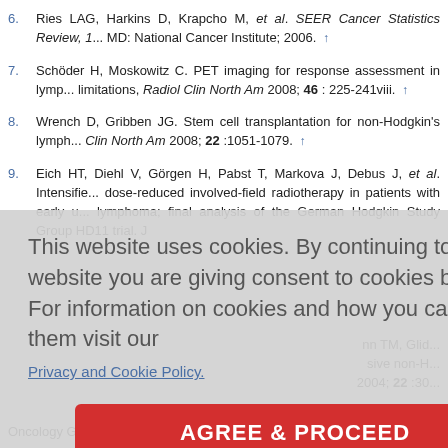6. Ries LAG, Harkins D, Krapcho M, et al. SEER Cancer Statistics Review, 1... MD: National Cancer Institute; 2006. ↑
7. Schöder H, Moskowitz C. PET imaging for response assessment in lymp... limitations, Radiol Clin North Am 2008; 46 : 225-241viii. ↑
8. Wrench D, Gribben JG. Stem cell transplantation for non-Hodgkin's lymph... Clin North Am 2008; 22 :1051-1079. ↑
9. Eich HT, Diehl V, Görgen H, Pabst T, Markova J, Debus J, et al. Intensifie... dose-reduced involved-field radiotherapy in patients with early u... lymphoma; final analysis of the German Hodgkin Study Group HD11 trial. J...
This website uses cookies. By continuing to use this website you are giving consent to cookies being used. For information on cookies and how you can disable them visit our Privacy and Cookie Policy. [AGREE & PROCEED button]
...nn TM, Glid... sive non-H... 2004; 22 :30...
...fludarabine... 1015-1022.
...ennett J, e... istine, and... -up of an... Oncology Group randomized clinical trial. J Clin Oncol 1991; 9 :770-776. ↑